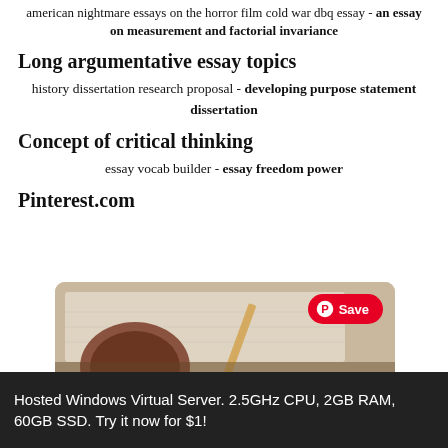american nightmare essays on the horror film cold war dbq essay - an essay on measurement and factorial invariance
Long argumentative essay topics
history dissertation research proposal - developing purpose statement dissertation
Concept of critical thinking
essay vocab builder - essay freedom power
Pinterest.com
[Figure (photo): Pinterest image showing a coffee cup and open book with text '6 Reasons to Get Certified in Project Management' and a red Save button]
Hosted Windows Virtual Server. 2.5GHz CPU, 2GB RAM, 60GB SSD. Try it now for $1!